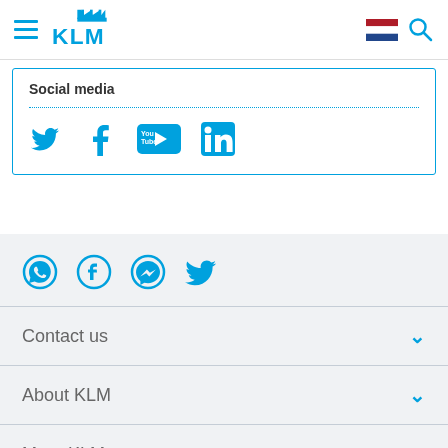KLM navigation bar with hamburger menu, KLM logo, Dutch flag, and search icon
Social media
[Figure (infographic): Social media icons: Twitter, Facebook, YouTube, LinkedIn in blue]
[Figure (infographic): Social media contact icons: WhatsApp, Facebook, Messenger, Twitter in blue]
Contact us
About KLM
More KLM